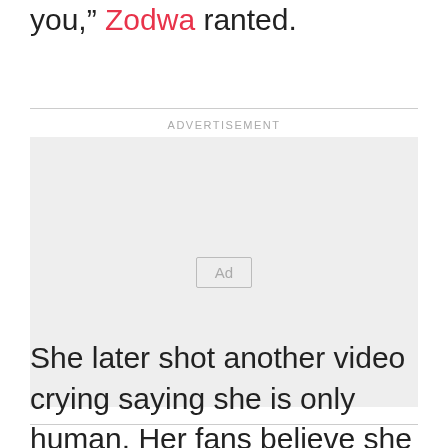you," Zodwa ranted.
[Figure (other): Advertisement placeholder box with 'Ad' button label]
She later shot another video crying saying she is only human. Her fans believe she was seeking attention but now it has landed her in